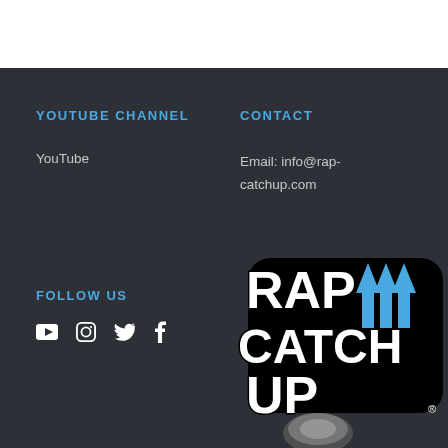YOUTUBE CHANNEL
YouTube
CONTACT
Email: info@rap-catchup.com
FOLLOW US
[Figure (logo): Rap Catch Up logo with white bold text 'RAP CATCH UP' and two blue upward arrows, with a speaker/microphone graphic at the bottom]
[Figure (illustration): Social media icons: YouTube, Instagram, Twitter, Facebook]